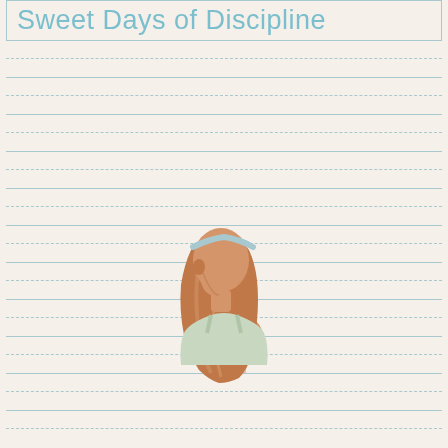Sweet Days of Discipline
[Figure (illustration): A young woman with long reddish-brown hair pulled back with a light blue headband, seen from behind/side profile, wearing a light-colored sleeveless top, head bowed slightly downward. The image is set against a lined notebook paper background.]